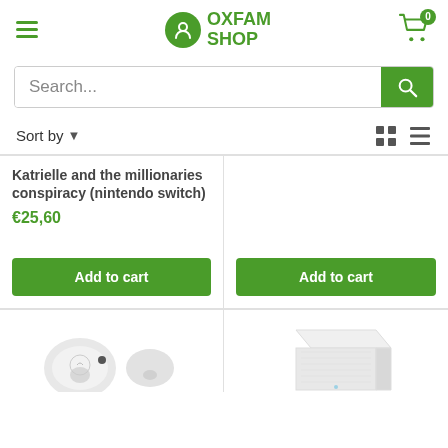Oxfam Shop — navigation header with hamburger menu, logo, and cart (0 items)
Search...
Sort by
Katrielle and the millionaries conspiracy (nintendo switch)
€25,60
Add to cart
Add to cart
[Figure (photo): White wireless earbuds (TWS earphones) product photo]
[Figure (photo): White cube-shaped electronic device product photo]